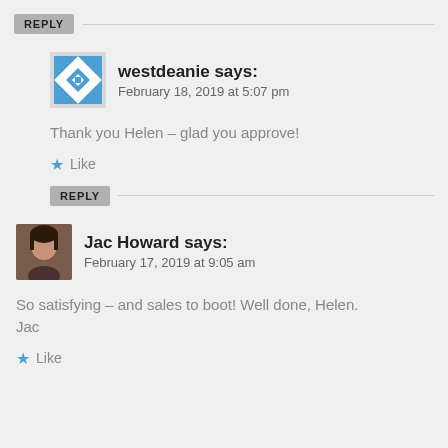REPLY
westdeanie says:
February 18, 2019 at 5:07 pm
Thank you Helen – glad you approve!
Like
REPLY
Jac Howard says:
February 17, 2019 at 9:05 am
So satisfying – and sales to boot! Well done, Helen.
Jac
Like